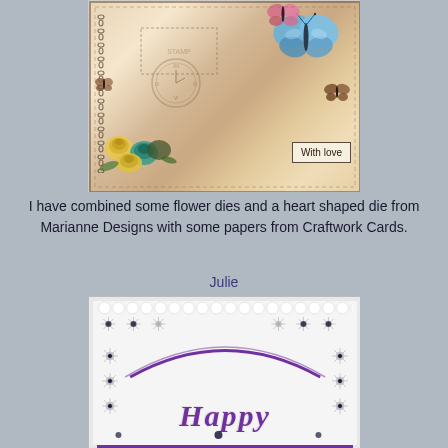[Figure (photo): Handmade greeting card with butterflies, paper flowers in yellow and teal, clock stamp on vintage beige patterned paper, with a 'With love' label in the lower right corner.]
I have combined some flower dies and a heart shaped die from Marianne Designs with some papers from Craftwork Cards.
Julie
[Figure (photo): Handmade card on purple background showing white die-cut 'Happy' script text with daisy/flower die-cut border and gem embellishments on white textured card.]